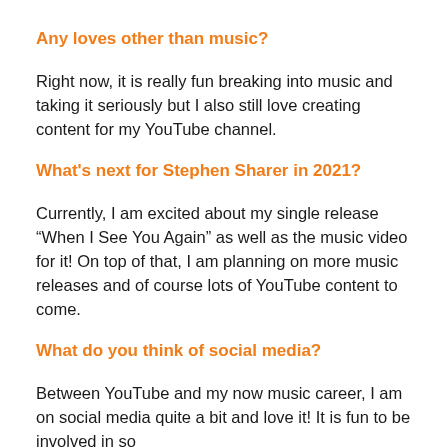Any loves other than music?
Right now, it is really fun breaking into music and taking it seriously but I also still love creating content for my YouTube channel.
What's next for Stephen Sharer in 2021?
Currently, I am excited about my single release “When I See You Again” as well as the music video for it! On top of that, I am planning on more music releases and of course lots of YouTube content to come.
What do you think of social media?
Between YouTube and my now music career, I am on social media quite a bit and love it! It is fun to be involved in so